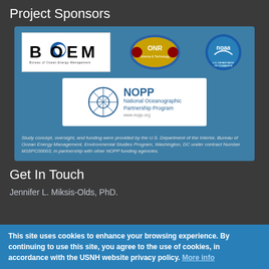Project Sponsors
[Figure (logo): Sponsor logos: BOEM (Bureau of Ocean Energy Management), ONR (Office of Naval Research Science & Technology), NOAA, and NOPP (National Oceanographic Partnership Program) logos on a blue background]
Study concept, oversight, and funding were provided by the U.S. Department of the Interior, Bureau of Ocean Energy Management, Environmental Studies Program, Washington, DC under contract Number M16PC00003, in partnership with other NOPP funding agencies.
Get In Touch
Jennifer L. Miksis-Olds, PhD.
This site uses cookies to enhance your browsing experience. By continuing to use this site, you agree to the use of cookies, in accordance with the USNH website privacy policy. More info